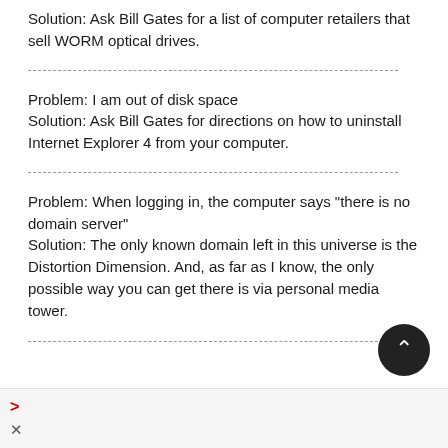Solution: Ask Bill Gates for a list of computer retailers that sell WORM optical drives.
Problem: I am out of disk space
Solution: Ask Bill Gates for directions on how to uninstall Internet Explorer 4 from your computer.
Problem: When logging in, the computer says "there is no domain server"
Solution: The only known domain left in this universe is the Distortion Dimension. And, as far as I know, the only possible way you can get there is via personal media tower.